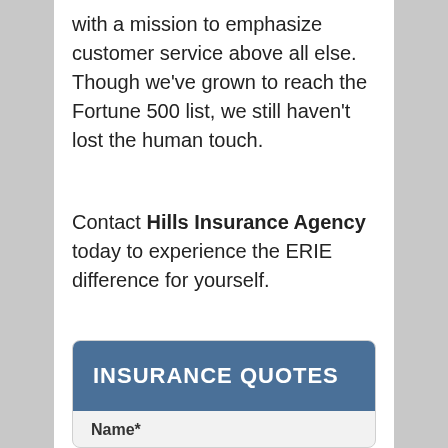with a mission to emphasize customer service above all else. Though we've grown to reach the Fortune 500 list, we still haven't lost the human touch.
Contact Hills Insurance Agency today to experience the ERIE difference for yourself.
INSURANCE QUOTES
Name*